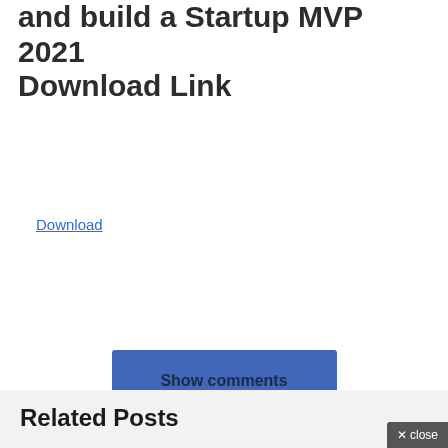and build a Startup MVP 2021 Download Link
Download
[Figure (other): Show comments button - a blue rectangular button with bold text 'Show comments']
[Figure (other): Social share icons: Facebook (dark blue circle with 'f'), Twitter (light blue circle with bird), Email (light blue circle with envelope)]
Related Posts